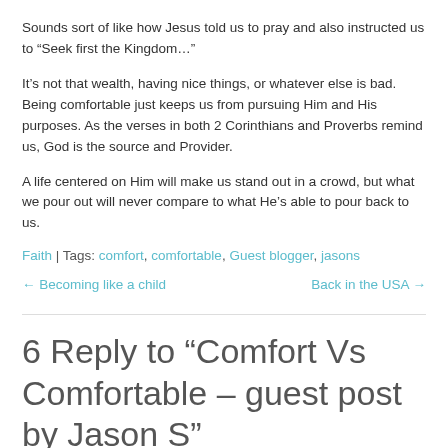Sounds sort of like how Jesus told us to pray and also instructed us to “Seek first the Kingdom…”
It’s not that wealth, having nice things, or whatever else is bad. Being comfortable just keeps us from pursuing Him and His purposes. As the verses in both 2 Corinthians and Proverbs remind us, God is the source and Provider.
A life centered on Him will make us stand out in a crowd, but what we pour out will never compare to what He’s able to pour back to us.
Faith | Tags: comfort, comfortable, Guest blogger, jasons
← Becoming like a child    Back in the USA →
6 Reply to “Comfort Vs Comfortable – guest post by Jason S”